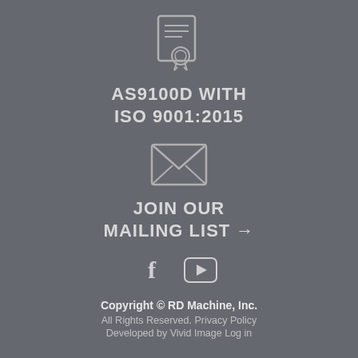[Figure (illustration): Certificate/document icon with ribbon, gray outline style]
AS9100D WITH ISO 9001:2015
[Figure (illustration): Envelope/email icon, gray outline style]
JOIN OUR MAILING LIST →
[Figure (illustration): Social media icons: Facebook (f) and YouTube (play button)]
Copyright © RD Machine, Inc.
All Rights Reserved. Privacy Policy
Developed by Vivid Image Log in